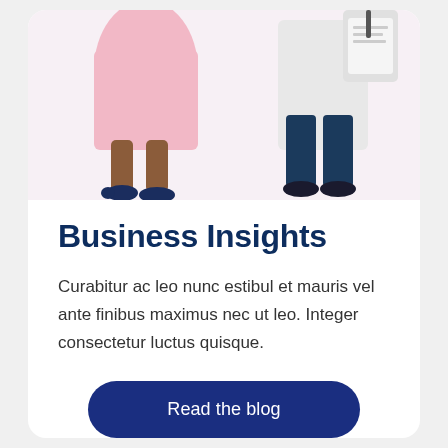[Figure (illustration): Two illustrated figures cropped at waist level: one wearing a pink dress and dark shoes on the left, one wearing a white coat and dark trousers holding a clipboard on the right.]
Business Insights
Curabitur ac leo nunc estibul et mauris vel ante finibus maximus nec ut leo. Integer consectetur luctus quisque.
Read the blog